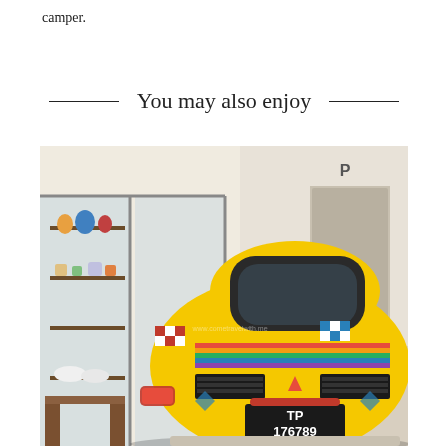camper.
You may also enjoy
[Figure (photo): A colorfully decorated Fiat 500 car (Italian Sicilian folk art style) with license plate TP 176789, parked outside a shop with shelves of ceramics visible through open glass doors. The car is painted yellow with red, blue, white and green geometric and floral patterns.]